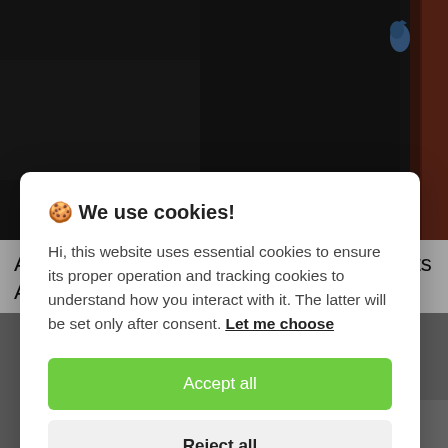[Figure (photo): Dark background photo, likely a stage or event setting with a bird silhouette and brick wall detail visible on the right edge.]
Anupam Kher To Narrate Anecdotes, Facts About Indian Pms ...
🍪 We use cookies!

Hi, this website uses essential cookies to ensure its proper operation and tracking cookies to understand how you interact with it. The latter will be set only after consent. Let me choose

[Accept all]
[Reject all]
[Figure (photo): Black and white photo strip at the bottom of the page.]